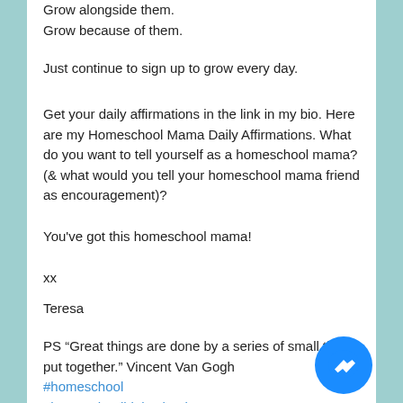Grow alongside them.
Grow because of them.
Just continue to sign up to grow every day.
Get your daily affirmations in the link in my bio. Here are my Homeschool Mama Daily Affirmations. What do you want to tell yourself as a homeschool mama? (& what would you tell your homeschool mama friend as encouragement)?
You've got this homeschool mama!
xx
Teresa
PS “Great things are done by a series of small things put together.” Vincent Van Gogh
#homeschool
#homeschoolhighschool
#homeschoolfamily
#homeschoolplanning
#homeschoolhelp
#homeschoolplanning